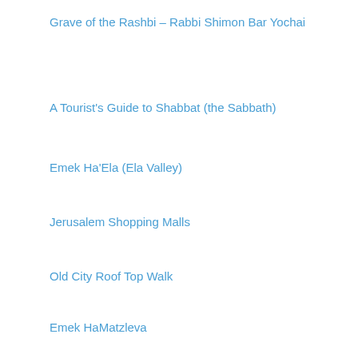Grave of the Rashbi – Rabbi Shimon Bar Yochai
A Tourist's Guide to Shabbat (the Sabbath)
Emek Ha'Ela (Ela Valley)
Jerusalem Shopping Malls
Old City Roof Top Walk
Emek HaMatzleva